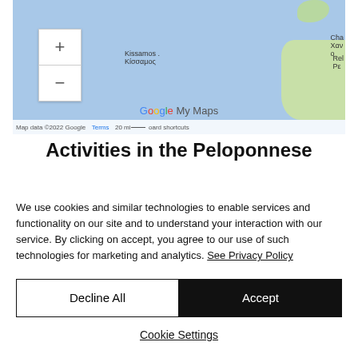[Figure (map): Google My Maps screenshot showing the Crete/Peloponnese region of Greece, with blue sea background, land masses in green, zoom controls, place labels (Kissamos/Κίσσαμος, Chania/Χανιά, Rethymno), Google My Maps logo, and map attribution footer.]
Activities in the Peloponnese
We use cookies and similar technologies to enable services and functionality on our site and to understand your interaction with our service. By clicking on accept, you agree to our use of such technologies for marketing and analytics. See Privacy Policy
Decline All
Accept
Cookie Settings